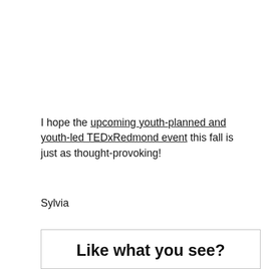I hope the upcoming youth-planned and youth-led TEDxRedmond event this fall is just as thought-provoking!
Sylvia
Like what you see?
Signup today for our occasional email newsletter.